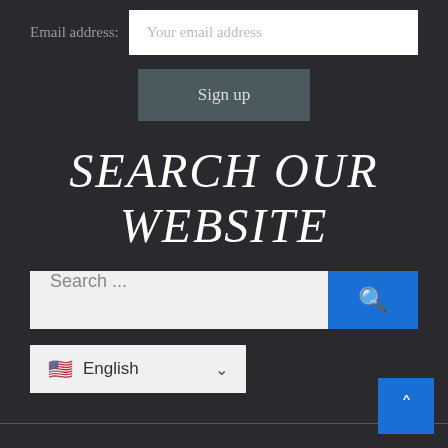Email address: Your email address
Sign up
SEARCH OUR WEBSITE
Search ...
English
Copyright © All rights reserved. Blog Rider | Shadow Themes.